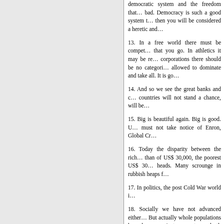democratic system and the freedom that… bad. Democracy is such a good system t… then you will be considered a heretic and…
13. In a free world there must be compet… that you go. In athletics it may be re… corporations there should be no categori… allowed to dominate and take all. It is go…
14. And so we see the great banks and c… countries will not stand a chance, will be…
15. Big is beautiful again. Big is good. U… must not take notice of Enron, Global Cr…
16. Today the disparity between the rich… than of US$ 30,000, the poorest US$ 30… heads. Many scrounge in rubbish heaps f…
17. In politics, the post Cold War world i…
18. Socially we have not advanced either… But actually whole populations have bee… against a country a death sentence is pas… the sanctity of life.
19. The exploitation of the world by the… oppressions of the weak by the strong, … people, all these have been aggravated by…
20. The worm finally turned. The weak b…